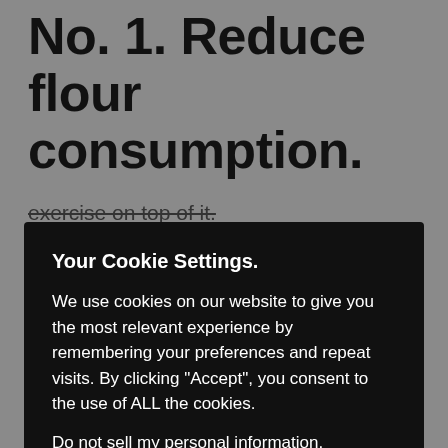No. 1. Reduce flour consumption.
exercise on top of it.
[Figure (screenshot): Cookie consent dialog overlay with black background. Title: 'Your Cookie Settings.' Body text: 'We use cookies on our website to give you the most relevant experience by remembering your preferences and repeat visits. By clicking "Accept", you consent to the use of ALL the cookies.' Link: 'Do not sell my personal information.' Buttons: 'Cookie Settings' and 'Accept'.]
The biggest challenge that I find with avoiding flour products is that it is very difficult to avoid them. When eating out,